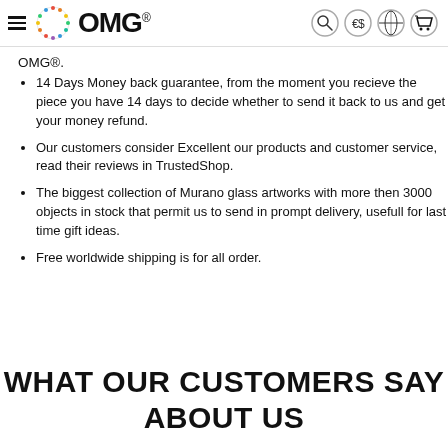OMG® [navigation bar with hamburger menu, logo, search, currency, globe, and cart icons]
OMG®.
14 Days Money back guarantee, from the moment you recieve the piece you have 14 days to decide whether to send it back to us and get your money refund.
Our customers consider Excellent our products and customer service, read their reviews in TrustedShop.
The biggest collection of Murano glass artworks with more then 3000 objects in stock that permit us to send in prompt delivery, usefull for last time gift ideas.
Free worldwide shipping is for all order.
WHAT OUR CUSTOMERS SAY ABOUT US